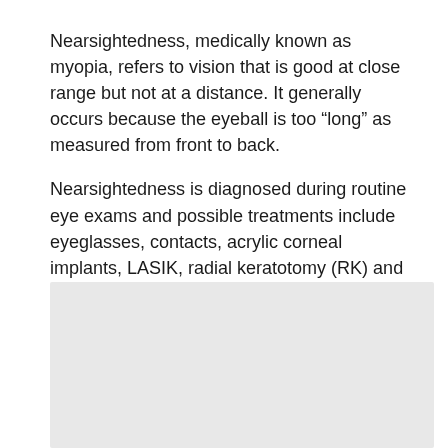Nearsightedness, medically known as myopia, refers to vision that is good at close range but not at a distance. It generally occurs because the eyeball is too “long” as measured from front to back.
Nearsightedness is diagnosed during routine eye exams and possible treatments include eyeglasses, contacts, acrylic corneal implants, LASIK, radial keratotomy (RK) and photorefractive keratotomy (PRK). Your eye care provider will suggest the best treatment option for you.
[Figure (photo): A light gray rectangular image placeholder, likely a medical or eye-related photograph, positioned in the lower portion of the page.]